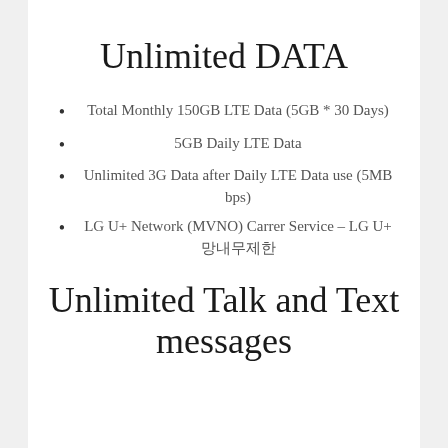Unlimited DATA
Total Monthly 150GB LTE Data (5GB * 30 Days)
5GB Daily LTE Data
Unlimited 3G Data after Daily LTE Data use (5MB bps)
LG U+ Network (MVNO) Carrer Service – LG U+ 망내무제한
Unlimited Talk and Text messages